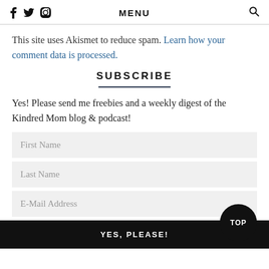f  twitter  pinterest  instagram   MENU   search
This site uses Akismet to reduce spam. Learn how your comment data is processed.
SUBSCRIBE
Yes! Please send me freebies and a weekly digest of the Kindred Mom blog & podcast!
First Name
Last Name
E-Mail Address
YES, PLEASE!
TOP